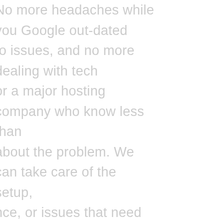No more headaches while you Google out-dated to issues, and no more dealing with tech or a major hosting company who know less than about the problem. We can take care of the setup, nce, or issues that need resolved while you your company and what you do best.